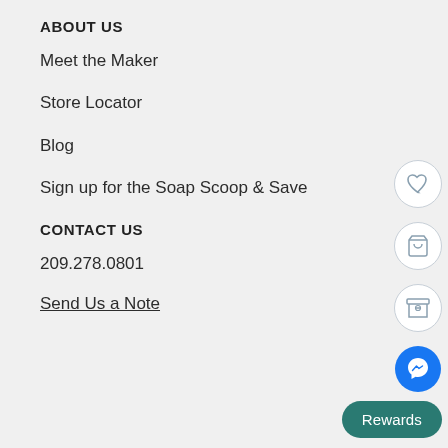ABOUT US
Meet the Maker
Store Locator
Blog
Sign up for the Soap Scoop & Save
CONTACT US
209.278.0801
Send Us a Note
[Figure (infographic): Four circular icon buttons on the right side: heart/wishlist icon, shopping cart icon, package/box icon, and Facebook Messenger icon (blue). Also a teal Rewards button at bottom right.]